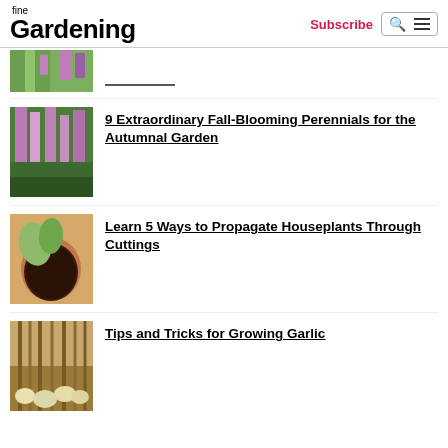fine Gardening | Subscribe
[Figure (photo): Partial thumbnail of purple flowering plant (top cropped)]
[Figure (photo): Tall pink spike flowers in a garden]
9 Extraordinary Fall-Blooming Perennials for the Autumnal Garden
[Figure (photo): A succulent plant in a terracotta pot on a wooden surface]
Learn 5 Ways to Propagate Houseplants Through Cuttings
[Figure (photo): Garlic bulbs with roots and stems laid out in a tray]
Tips and Tricks for Growing Garlic